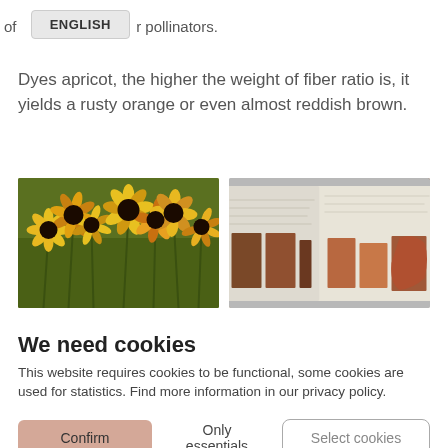of ... pollinators.
Dyes apricot, the higher the weight of fiber ratio is, it yields a rusty orange or even almost reddish brown.
[Figure (photo): Left: photo of yellow and dark-red wildflowers (coneflowers/rudbeckia) in a field. Right: photo of dyed fabric swatches in shades of brown/orange/rust on a notebook with handwritten notes.]
We need cookies
This website requires cookies to be functional, some cookies are used for statistics. Find more information in our privacy policy.
Confirm   Only essentials   Select cookies
Privacy policy | Imprint